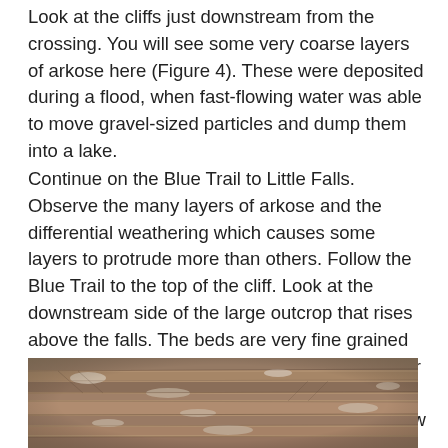Look at the cliffs just downstream from the crossing. You will see some very coarse layers of arkose here (Figure 4). These were deposited during a flood, when fast-flowing water was able to move gravel-sized particles and dump them into a lake.
Continue on the Blue Trail to Little Falls. Observe the many layers of arkose and the differential weathering which causes some layers to protrude more than others. Follow the Blue Trail to the top of the cliff. Look at the downstream side of the large outcrop that rises above the falls. The beds are very fine grained and thin, but in some places they cut each other off. This is known as cross bedding and formed either when the stream changed direction of flow or in a sand dune (Figure 5).
[Figure (photo): Photograph of layered rock outcrop showing cross bedding in arkose, with fine grained and thin beds visible.]